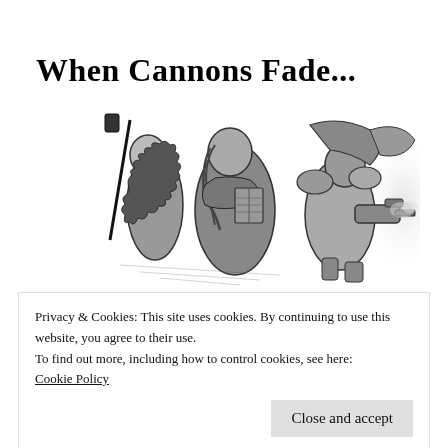When Cannons Fade...
[Figure (illustration): Black and white illustration of armored fantasy/sci-fi warriors in action, including figures with weapons and mechanical elements, rendered in a detailed ink style.]
Privacy & Cookies: This site uses cookies. By continuing to use this website, you agree to their use.
To find out more, including how to control cookies, see here:
Cookie Policy
Close and accept